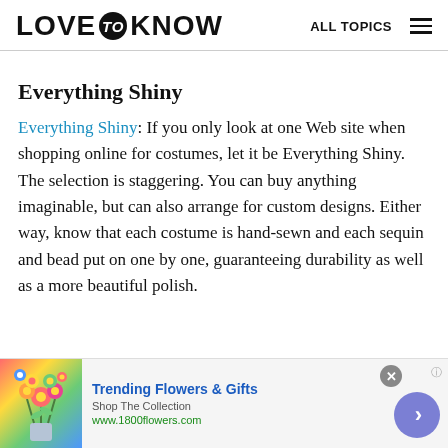LOVE to KNOW   ALL TOPICS
Everything Shiny
Everything Shiny: If you only look at one Web site when shopping online for costumes, let it be Everything Shiny. The selection is staggering. You can buy anything imaginable, but can also arrange for custom designs. Either way, know that each costume is hand-sewn and each sequin and bead put on one by one, guaranteeing durability as well as a more beautiful polish.
[Figure (other): Advertisement banner for 1800flowers.com showing a flower bouquet image, text 'Trending Flowers & Gifts', 'Shop The Collection', 'www.1800flowers.com', with a close button and forward arrow button.]